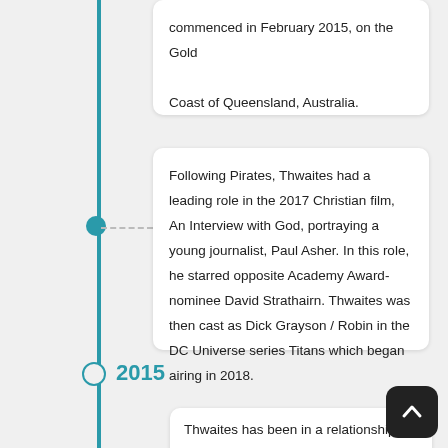commenced in February 2015, on the Gold Coast of Queensland, Australia.
Following Pirates, Thwaites had a leading role in the 2017 Christian film, An Interview with God, portraying a young journalist, Paul Asher. In this role, he starred opposite Academy Award-nominee David Strathairn. Thwaites was then cast as Dick Grayson / Robin in the DC Universe series Titans which began airing in 2018.
2015
Thwaites has been in a relationship with Chloe Pacey since 2015, after the two had been